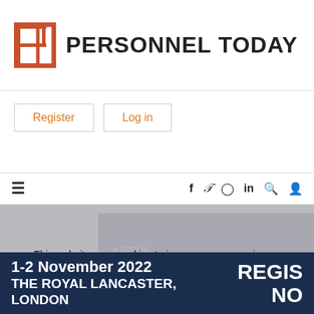[Figure (logo): Personnel Today logo with stylized 'P' icon in orange/red outline and bold black text 'PERSONNEL TODAY']
Register
Log in
Navigation bar with hamburger menu icon and social icons: f, twitter, instagram, in, search, user
This website uses cookies to improve your experience, including for ads personalisation. By continuing to browse this website, you agree to our use of these cookies. You can learn more about the cookies we use here.
[Figure (illustration): Forum for Expatriate Management EMEA Summit banner ad: dark navy background, event logo with globe, text 'REGISTER NOW' in large white bold letters, '1-2 November 2022, The Royal Lancaster, London']
1-2 November 2022
THE ROYAL LANCASTER, LONDON
REGIS NOW